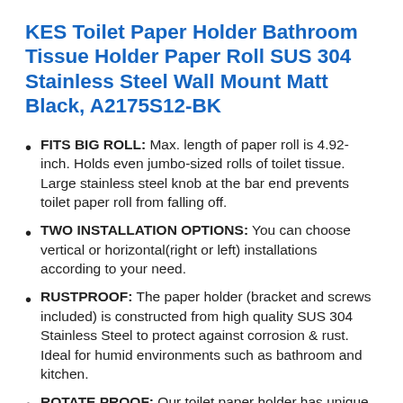KES Toilet Paper Holder Bathroom Tissue Holder Paper Roll SUS 304 Stainless Steel Wall Mount Matt Black, A2175S12-BK
FITS BIG ROLL: Max. length of paper roll is 4.92-inch. Holds even jumbo-sized rolls of toilet tissue. Large stainless steel knob at the bar end prevents toilet paper roll from falling off.
TWO INSTALLATION OPTIONS: You can choose vertical or horizontal(right or left) installations according to your need.
RUSTPROOF: The paper holder (bracket and screws included) is constructed from high quality SUS 304 Stainless Steel to protect against corrosion & rust. Ideal for humid environments such as bathroom and kitchen.
ROTATE PROOF: Our toilet paper holder has unique slot design with screw tightening on the bracket to prevent free rotation. NO wobbling...